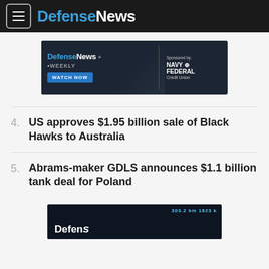DefenseNews
[Figure (other): DefenseNews Weekly advertisement banner with WATCH NOW button, sponsored by Navy Federal Credit Union]
4. US approves $1.95 billion sale of Black Hawks to Australia
5. Abrams-maker GDLS announces $1.1 billion tank deal for Poland
[Figure (screenshot): Partial video thumbnail showing DefenseNews branding on dark background]